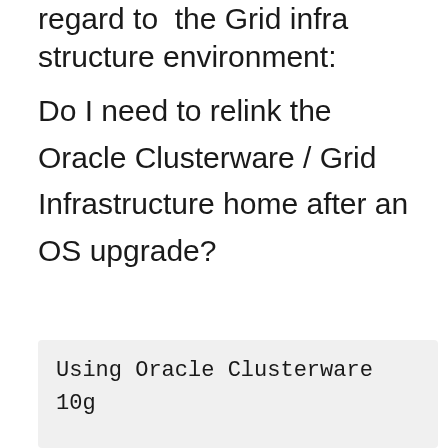regard to  the Grid infra structure environment:
Do I need to relink the Oracle Clusterware / Grid Infrastructure home after an OS upgrade?
Using Oracle Clusterware 10g

    Using Oracle Grid Infrastruc

As root: